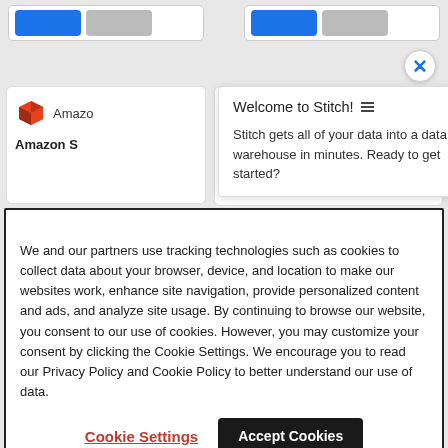[Figure (screenshot): Top area showing two card panels with blue and gray buttons]
[Figure (screenshot): Close X button in blue on white circle]
[Figure (screenshot): Amazon S card with red AWS icon and partially visible title 'Amazon S']
Welcome to Stitch! Stitch gets all of your data into a data warehouse in minutes. Ready to get started?
We and our partners use tracking technologies such as cookies to collect data about your browser, device, and location to make our websites work, enhance site navigation, provide personalized content and ads, and analyze site usage. By continuing to browse our website, you consent to our use of cookies. However, you may customize your consent by clicking the Cookie Settings. We encourage you to read our Privacy Policy and Cookie Policy to better understand our use of data.
Cookie Settings
Accept Cookies